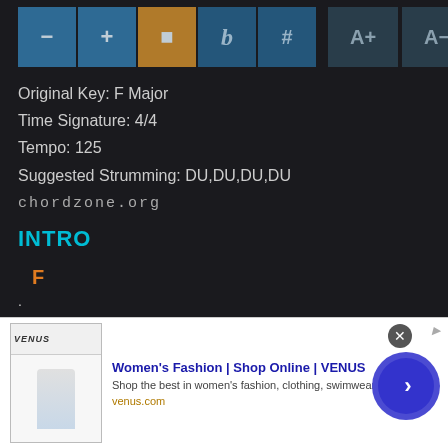[Figure (screenshot): Toolbar with music transposition controls: minus, plus, stop (active/orange), flat symbol, hash/sharp, A+, A- buttons on dark blue background]
Original Key: F Major
Time Signature: 4/4
Tempo: 125
Suggested Strumming: DU,DU,DU,DU
chordzone.org
INTRO
F
.
VERSE ONE
[Figure (screenshot): Advertisement banner: Women's Fashion | Shop Online | VENUS. Shop the best in women's fashion, clothing, swimwear. venus.com]